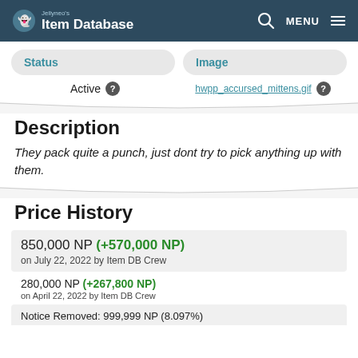Jellyneo's Item Database
Status | Image
Active ? | hwpp_accursed_mittens.gif ?
Description
They pack quite a punch, just dont try to pick anything up with them.
Price History
850,000 NP (+570,000 NP) on July 22, 2022 by Item DB Crew
280,000 NP (+267,800 NP) on April 22, 2022 by Item DB Crew
Notice Removed: 999,999 NP (8.097%)